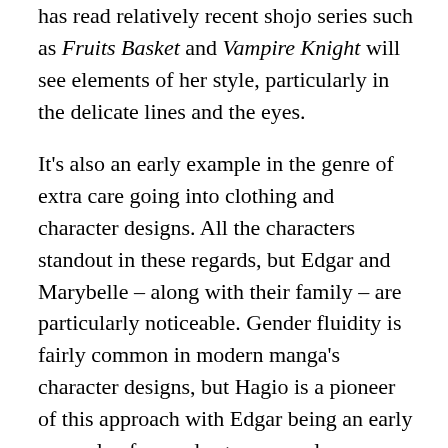has read relatively recent shojo series such as Fruits Basket and Vampire Knight will see elements of her style, particularly in the delicate lines and the eyes.
It's also an early example in the genre of extra care going into clothing and character designs. All the characters standout in these regards, but Edgar and Marybelle – along with their family – are particularly noticeable. Gender fluidity is fairly common in modern manga's character designs, but Hagio is a pioneer of this approach with Edgar being an early example of an androgynous male protagonist. There are even examples of early foundations of the BL/yaoi genre with the relationship between Allan Twilight and Edgar being suitably ambiguous. You could argue that the two leads are a precursor for the shiny depiction of vampires that became popular in YA novels in recent years, or at the very least that Hagio was